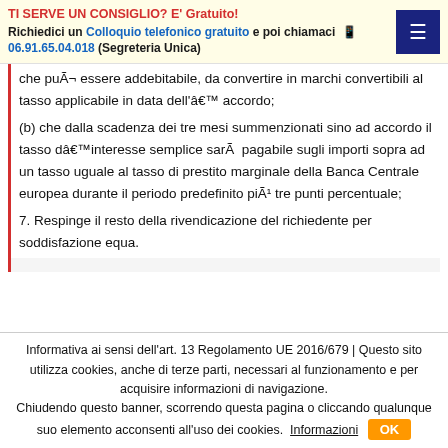TI SERVE UN CONSIGLIO? E' Gratuito! Richiedici un Colloquio telefonico gratuito e poi chiamaci 📱 06.91.65.04.018 (Segreteria Unica)
che puÃ¬ essere addebitabile, da convertire in marchi convertibili al tasso applicabile in data dell'accordo;
(b) che dalla scadenza dei tre mesi summenzionati sino ad accordo il tasso d'interesse semplice sarÃ  pagabile sugli importi sopra ad un tasso uguale al tasso di prestito marginale della Banca Centrale europea durante il periodo predefinito piÃ¹ tre punti percentuale;
7. Respinge il resto della rivendicazione del richiedente per soddisfazione equa.
Informativa ai sensi dell'art. 13 Regolamento UE 2016/679 | Questo sito utilizza cookies, anche di terze parti, necessari al funzionamento e per acquisire informazioni di navigazione. Chiudendo questo banner, scorrendo questa pagina o cliccando qualunque suo elemento acconsenti all'uso dei cookies. Informazioni OK